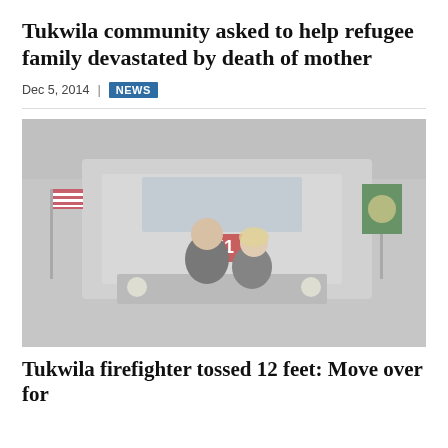Tukwila community asked to help refugee family devastated by death of mother
Dec 5, 2014  |  NEWS
[Figure (photo): Two people posing in front of a red fire truck labeled '51' inside a fire station. An American flag is visible on the left and a Washington State flag on the right.]
Tukwila firefighter tossed 12 feet: Move over for